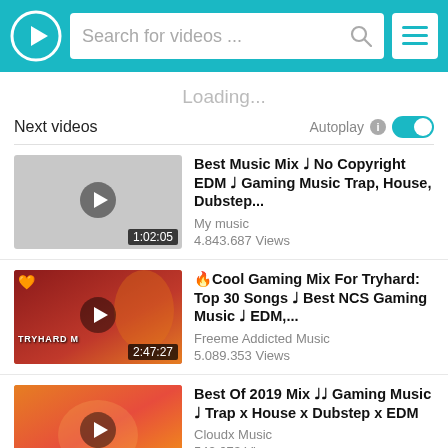Search for videos ...
Loading...
Next videos   Autoplay
Best Music Mix ♩ No Copyright EDM ♩ Gaming Music Trap, House, Dubstep... | My music | 4.843.687 Views | 1:02:05
🔥Cool Gaming Mix For Tryhard: Top 30 Songs ♩ Best NCS Gaming Music ♩ EDM,... | Freeme Addicted Music | 5.089.353 Views | 2:47:27
Best Of 2019 Mix ♩♩ Gaming Music ♩ Trap x House x Dubstep x EDM | Cloudx Music | 542.673 Views | 1:34:57
Best Music Mix 2019 ♩ Gaming Music ♩ Dubstep, House, Trap Music | Magic Music | 5.760.078 Views | 59:21